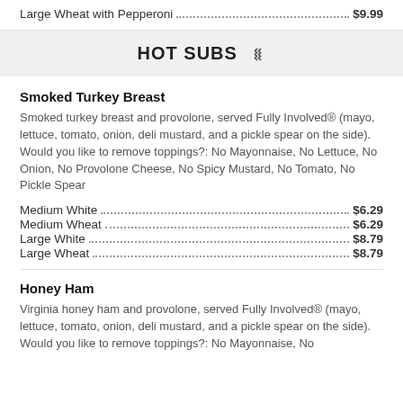Large Wheat with Pepperoni . . . . . . . . . . . . . . . . . . . . . . . . . . $9.99
HOT SUBS
Smoked Turkey Breast
Smoked turkey breast and provolone, served Fully Involved® (mayo, lettuce, tomato, onion, deli mustard, and a pickle spear on the side). Would you like to remove toppings?: No Mayonnaise, No Lettuce, No Onion, No Provolone Cheese, No Spicy Mustard, No Tomato, No Pickle Spear
Medium White . . . . . . . . . . . . . . . . . . . . . . . . . . . . . . . . . . . $6.29
Medium Wheat . . . . . . . . . . . . . . . . . . . . . . . . . . . . . . . . . . $6.29
Large White . . . . . . . . . . . . . . . . . . . . . . . . . . . . . . . . . . . . $8.79
Large Wheat . . . . . . . . . . . . . . . . . . . . . . . . . . . . . . . . . . . . $8.79
Honey Ham
Virginia honey ham and provolone, served Fully Involved® (mayo, lettuce, tomato, onion, deli mustard, and a pickle spear on the side). Would you like to remove toppings?: No Mayonnaise, No...